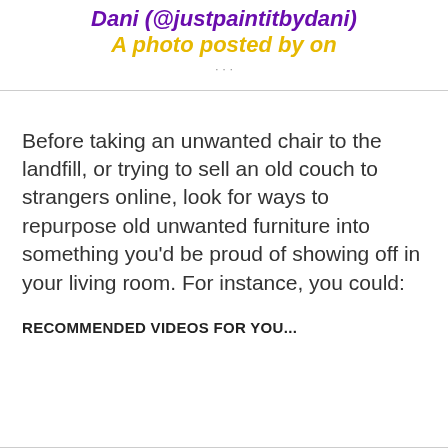Dani (@justpaintitbydani)
A photo posted by on
Before taking an unwanted chair to the landfill, or trying to sell an old couch to strangers online, look for ways to repurpose old unwanted furniture into something you'd be proud of showing off in your living room. For instance, you could:
RECOMMENDED VIDEOS FOR YOU...